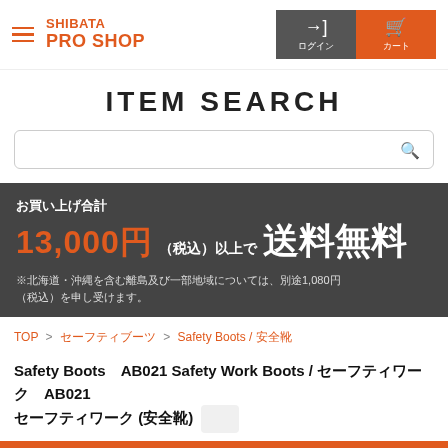SHIBATA PRO SHOP — ログイン カート
ITEM SEARCH
[Figure (other): Search input box with magnifying glass icon]
[Figure (infographic): Dark banner: お買い上げ合計 13,000円(税込)以上で 送料無料 ※北海道・沖縄を含む離島及び一部地域については、別途1,080円(税込)を申し受けます。]
TOP > セーフティブーツ > Safety Boots / 安全靴
Safety Boots　AB021 Safety Work Boots / セーフティワーク　AB021 セーフティワーク (安全靴)